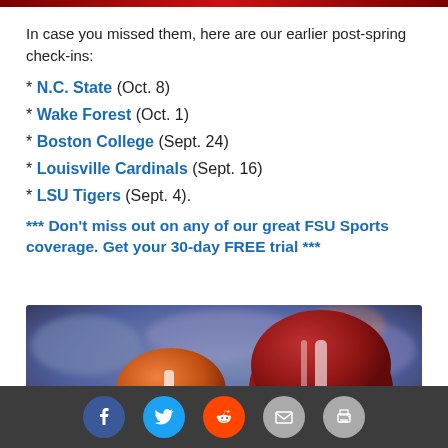In case you missed them, here are our earlier post-spring check-ins:
* N.C. State (Oct. 8)
* Wake Forest (Oct. 1)
* Boston College (Sept. 24)
* Louisville Cardinals (Sept. 16)
* LSU Tigers (Sept. 4).
*** Don't miss out on any of our great FSU Sports coverage. Get your 30-day FREE trial ***
[Figure (photo): Football players wearing orange and dark red helmets with crowd in background]
Social share buttons: Facebook, Twitter, Reddit, Email, Print